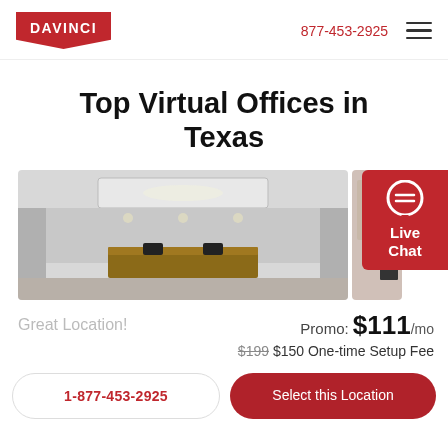DAVINCI | 877-453-2925
Top Virtual Offices in Texas
[Figure (photo): Interior photo of a modern office lobby with reception desk, ceiling lights, and white walls. A second smaller office interior photo is partially visible on the right.]
Great Location!
Promo: $111/mo
$199 $150 One-time Setup Fee
1-877-453-2925
Select this Location